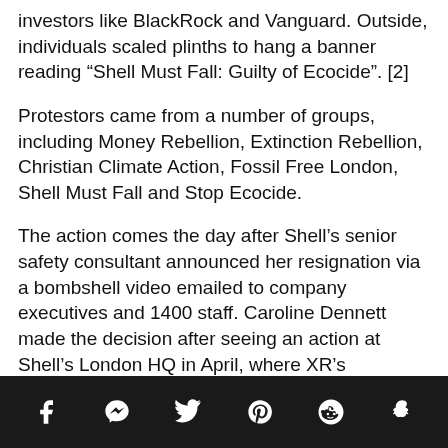investors like BlackRock and Vanguard. Outside, individuals scaled plinths to hang a banner reading “Shell Must Fall: Guilty of Ecocide”. [2]
Protestors came from a number of groups, including Money Rebellion, Extinction Rebellion, Christian Climate Action, Fossil Free London, Shell Must Fall and Stop Ecocide.
The action comes the day after Shell’s senior safety consultant announced her resignation via a bombshell video emailed to company executives and 1400 staff. Caroline Dennett made the decision after seeing an action at Shell’s London HQ in April, where XR’s TruthTeller team asked individual employees to #JumpShip. [3]
Social share icons: Facebook, Messenger, Twitter, Pinterest, Reddit, Snapchat